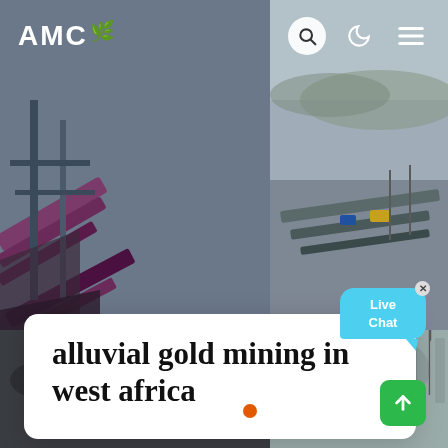[Figure (photo): Website screenshot of AMC mining company page showing alluvial gold mining in west africa. Background shows aerial/ground view of mining operations with conveyor belts and equipment. Navigation bar with AMC logo, search, dark mode and menu icons. White card overlay with article title. Live Chat bubble. Carousel dots and scroll-to-top button.]
AMC
alluvial gold mining in west africa